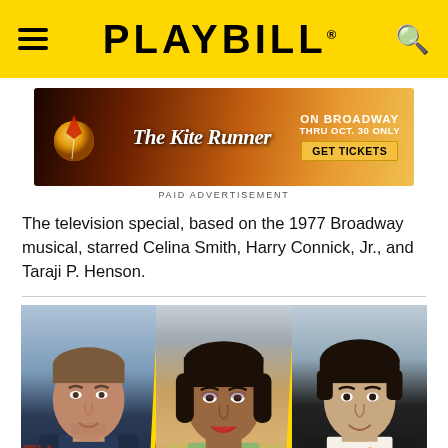PLAYBILL
[Figure (other): The Kite Runner on Broadway advertisement banner. Text reads: ON BROADWAY THRU OCT. 30 ONLY GET TICKETS. PAID ADVERTISEMENT label below.]
The television special, based on the 1977 Broadway musical, starred Celina Smith, Harry Connick, Jr., and Taraji P. Henson.
[Figure (photo): Composite photo of three people side by side separated by yellow diagonal lines: a young man on the left, a woman in the center, and a young man on the right.]